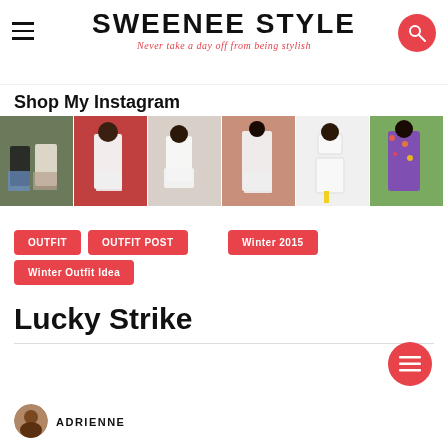SWEENEE STYLE — Never take a day off from being stylish
Shop My Instagram
[Figure (photo): Row of six Instagram outfit photos showing fashion looks]
OUTFIT
OUTFIT POST
Winter 2015
Winter Outfit Idea
Lucky Strike
ADRIENNE